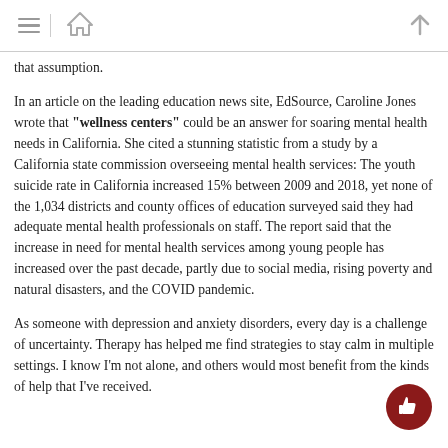[navigation bar with hamburger menu, home icon, and up arrow]
that assumption.
In an article on the leading education news site, EdSource, Caroline Jones wrote that “wellness centers” could be an answer for soaring mental health needs in California. She cited a stunning statistic from a study by a California state commission overseeing mental health services: The youth suicide rate in California increased 15% between 2009 and 2018, yet none of the 1,034 districts and county offices of education surveyed said they had adequate mental health professionals on staff. The report said that the increase in need for mental health services among young people has increased over the past decade, partly due to social media, rising poverty and natural disasters, and the COVID pandemic.
As someone with depression and anxiety disorders, every day is a challenge of uncertainty. Therapy has helped me find strategies to stay calm in multiple settings. I know I’m not alone, and others would most benefit from the kinds of help that I’ve received.